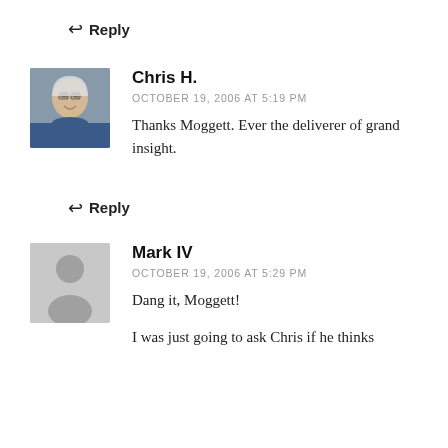↩ Reply
Chris H.
OCTOBER 19, 2006 AT 5:19 PM
Thanks Moggett. Ever the deliverer of grand insight.
↩ Reply
Mark IV
OCTOBER 19, 2006 AT 5:29 PM
Dang it, Moggett!
I was just going to ask Chris if he thinks